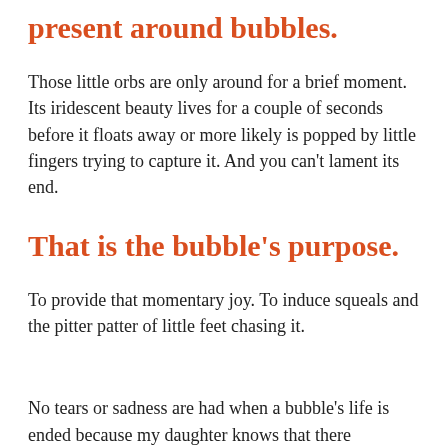present around bubbles.
Those little orbs are only around for a brief moment. Its iridescent beauty lives for a couple of seconds before it floats away or more likely is popped by little fingers trying to capture it. And you can't lament its end.
That is the bubble's purpose.
To provide that momentary joy. To induce squeals and the pitter patter of little feet chasing it.
No tears or sadness are had when a bubble's life is ended because my daughter knows that there